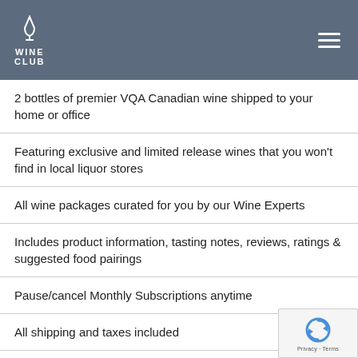WINE CLUB
2 bottles of premier VQA Canadian wine shipped to your home or office
Featuring exclusive and limited release wines that you won't find in local liquor stores
All wine packages curated for you by our Wine Experts
Includes product information, tasting notes, reviews, ratings & suggested food pairings
Pause/cancel Monthly Subscriptions anytime
All shipping and taxes included